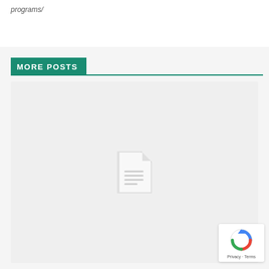programs/
MORE POSTS
[Figure (illustration): Document/file placeholder icon (white document with lines, on light gray background)]
[Figure (logo): Google reCAPTCHA badge with spinning arrows logo and 'Privacy - Terms' text]